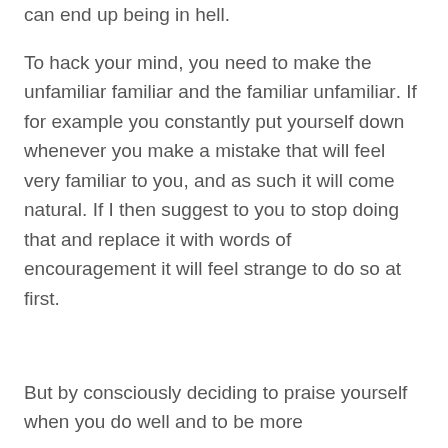can end up being in hell.
To hack your mind, you need to make the unfamiliar familiar and the familiar unfamiliar. If for example you constantly put yourself down whenever you make a mistake that will feel very familiar to you, and as such it will come natural. If I then suggest to you to stop doing that and replace it with words of encouragement it will feel strange to do so at first.
But by consciously deciding to praise yourself when you do well and to be more